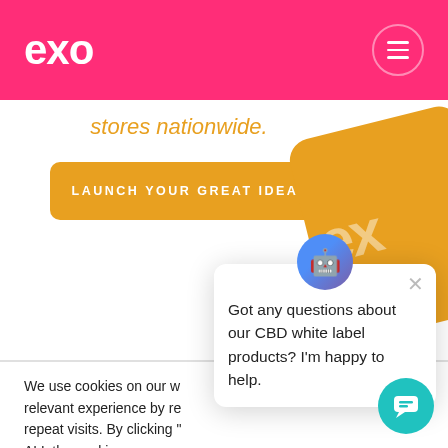exo
stores nationwide.
LAUNCH YOUR GREAT IDEA
We use cookies on our w... relevant experience by re... repeat visits. By clicking "... ALL the cookies.
Protect My Personal Information
Cookie settings
ACCEPT
Got any questions about our CBD white label products? I'm happy to help.